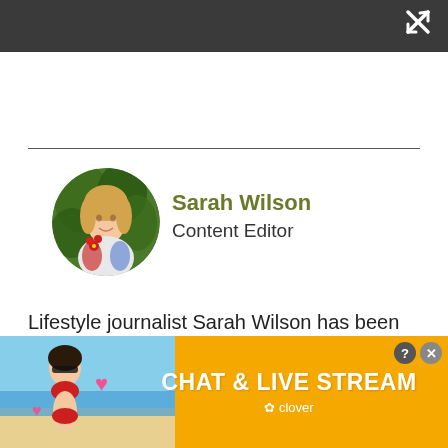[Figure (other): Dark gray top navigation bar with white expand/close icon (diagonal arrows forming an X) in the top right corner]
[Figure (photo): Circular portrait photo of Sarah Wilson, a blonde woman holding red flowers, with green foliage background]
Sarah Wilson
Content Editor
Lifestyle journalist Sarah Wilson has been writing about gardens since 2015. She's written for Gardeningetc.com
[Figure (infographic): Advertisement banner with orange/yellow background showing 'CHAT & LIVE STREAM' text and clover branding, with photo of woman on beach at left side]